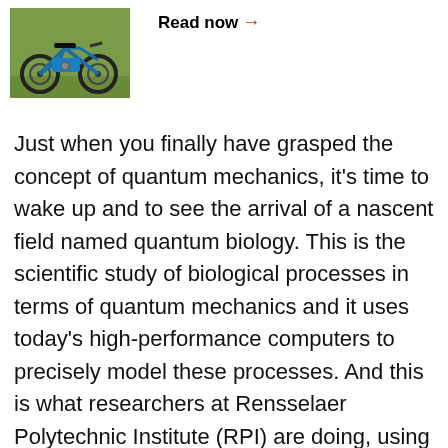[Figure (photo): Photo of a blue electric bicycle / small motorbike on grass]
Read now →
Just when you finally have grasped the concept of quantum mechanics, it's time to wake up and to see the arrival of a nascent field named quantum biology. This is the scientific study of biological processes in terms of quantum mechanics and it uses today's high-performance computers to precisely model these processes. And this is what researchers at Rensselaer Polytechnic Institute (RPI) are doing, using powerful computer models to reveal biological mechanisms. Right now, they're working on a "nanoswitch" that might be used for a